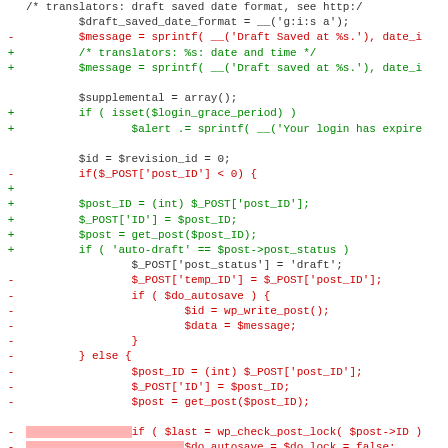[Figure (screenshot): Code diff screenshot showing PHP code changes. Lines with '-' are removals (red), lines with '+' are additions (green), neutral lines are dark. Some removed lines have pink background highlighting.]